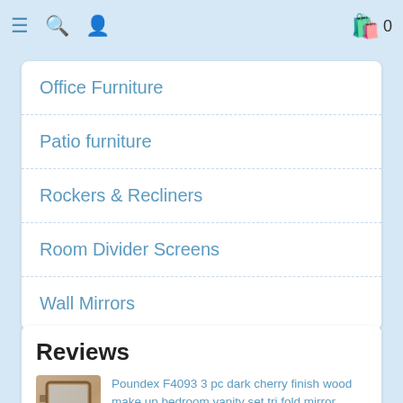Navigation bar with menu, search, user icons and cart (0 items)
Office Furniture
Patio furniture
Rockers & Recliners
Room Divider Screens
Wall Mirrors
Reviews
Poundex F4093 3 pc dark cherry finish wood make up bedroom vanity set tri fold mirror